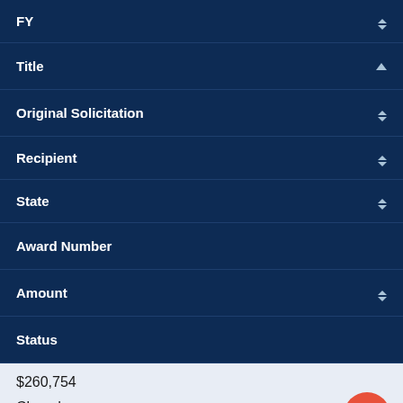| FY | Title | Original Solicitation | Recipient | State | Award Number | Amount | Status |
| --- | --- | --- | --- | --- | --- | --- | --- |
|  |  |  |  |  |  | $260,754 | Closed |
$260,754
Closed